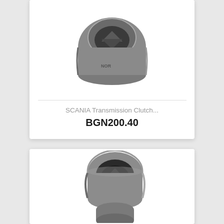[Figure (photo): Gray socket tool (SCANIA Transmission Clutch socket) viewed from top angle, showing hollow interior with internal geometry]
SCANIA Transmission Clutch...
BGN200.40
[Figure (photo): Gray socket/wrench tool viewed from a three-quarter angle, showing a cylindrical body with internal hexagonal recess and a smaller cylindrical protrusion at bottom]